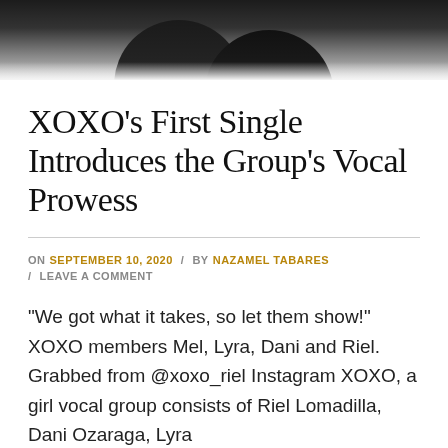[Figure (photo): Cropped photo of XOXO group members wearing dark clothing against white background, showing torsos and hands]
XOXO’s First Single Introduces the Group’s Vocal Prowess
ON SEPTEMBER 10, 2020 / BY NAZAMEL TABARES / LEAVE A COMMENT
“We got what it takes, so let them show!” XOXO members Mel, Lyra, Dani and Riel. Grabbed from @xoxo_riel Instagram XOXO, a girl vocal group consists of Riel Lomadilla, Dani Ozaraga, Lyra